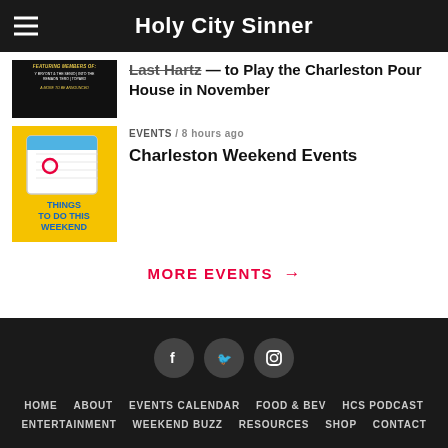Holy City Sinner
Last Hartz — to Play the Charleston Pour House in November
[Figure (photo): Dark thumbnail image with gold/yellow text mentioning featuring members, band names]
EVENTS / 8 hours ago
Charleston Weekend Events
[Figure (illustration): Yellow square image with calendar graphic and text 'THINGS TO DO THIS WEEKEND' in blue letters]
MORE EVENTS →
HOME  ABOUT  EVENTS CALENDAR  FOOD & BEV  HCS PODCAST  ENTERTAINMENT  WEEKEND BUZZ  RESOURCES  SHOP  CONTACT